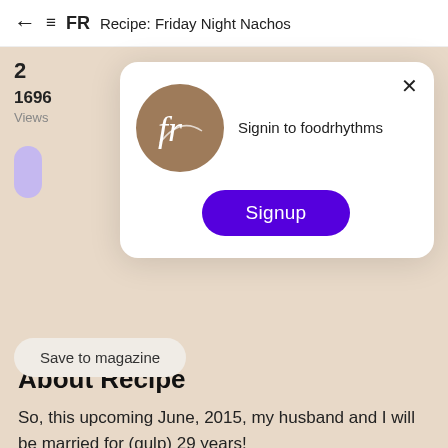← ≡ FR  Recipe: Friday Night Nachos
2
1696
Views
[Figure (screenshot): Foodrhythms app signup modal dialog with logo circle, 'Signin to foodrhythms' text, and purple Signup button]
Save to magazine
About Recipe
So, this upcoming June, 2015, my husband and I will be married for (gulp) 29 years!